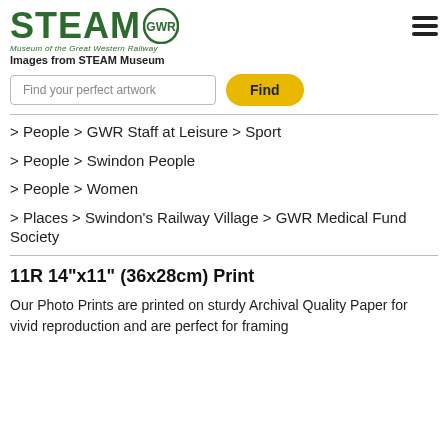STEAM GWR Museum of the Great Western Railway
Images from STEAM Museum
Find your perfect artwork
Find
> People > GWR Staff at Leisure > Sport
> People > Swindon People
> People > Women
> Places > Swindon's Railway Village > GWR Medical Fund Society
11R 14"x11" (36x28cm) Print
Our Photo Prints are printed on sturdy Archival Quality Paper for vivid reproduction and are perfect for framing